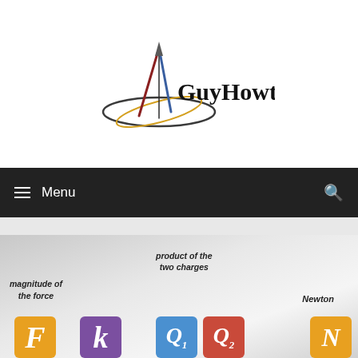[Figure (logo): GuyHowto logo with compass/needle graphic and stylized text 'GuyHowto' with gold orbital ring]
≡ Menu
[Figure (infographic): Coulomb's law infographic showing labeled tiles: F (magnitude of the force), Q1 and Q2 (product of the two charges), N (Newton). Colored square tiles on gray gradient background.]